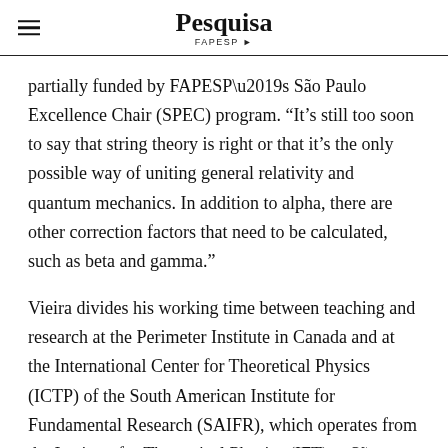Pesquisa FAPESP
partially funded by FAPESP’s São Paulo Excellence Chair (SPEC) program. “It’s still too soon to say that string theory is right or that it’s the only possible way of uniting general relativity and quantum mechanics. In addition to alpha, there are other correction factors that need to be calculated, such as beta and gamma.”
Vieira divides his working time between teaching and research at the Perimeter Institute in Canada and at the International Center for Theoretical Physics (ICTP) of the South American Institute for Fundamental Research (SAIFR), which operates from the Institute for Theoretical Physics (IFT) at São Paulo State University (UNESP). Andrea Guerrieri, an Italian physicist from